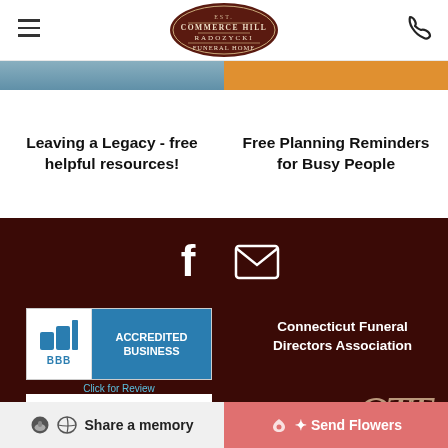[Figure (logo): Commerce Hill Radozycki Funeral Home oval logo]
[Figure (photo): Left image strip - blue-grey sky/building photo]
[Figure (photo): Right image strip - orange banner]
Leaving a Legacy - free helpful resources!
Free Planning Reminders for Busy People
[Figure (infographic): Facebook icon in white on dark maroon background]
[Figure (infographic): Email/envelope icon in white on dark maroon background]
[Figure (logo): BBB Accredited Business badge with Click for Review]
Connecticut Funeral Directors Association
[Figure (logo): NFDA National Funeral Directors logo]
[Figure (logo): OTT cursive monogram logo]
Share a memory
Send Flowers